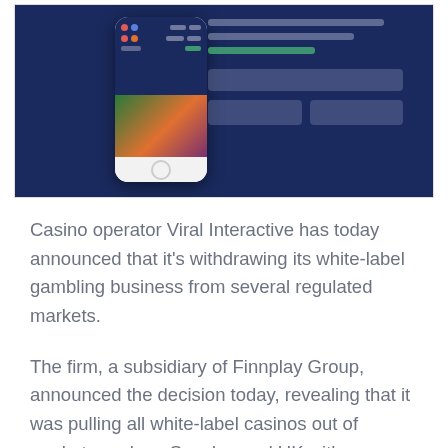[Figure (screenshot): Screenshot of a casino mobile app interface shown on a smartphone mockup, set against a dark navy blue background. The phone displays colorful casino-related UI with colored dots/icons and an orange/green image section.]
Casino operator Viral Interactive has today announced that it's withdrawing its white-label gambling business from several regulated markets.
The firm, a subsidiary of Finnplay Group, announced the decision today, revealing that it was pulling all white-label casinos out of markets such as Sweden and UK with immediate effect. According to Viral, the